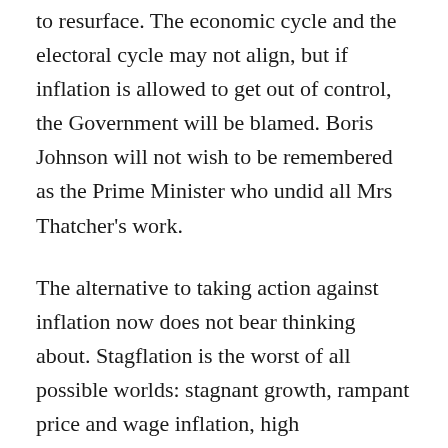to resurface. The economic cycle and the electoral cycle may not align, but if inflation is allowed to get out of control, the Government will be blamed. Boris Johnson will not wish to be remembered as the Prime Minister who undid all Mrs Thatcher's work.
The alternative to taking action against inflation now does not bear thinking about. Stagflation is the worst of all possible worlds: stagnant growth, rampant price and wage inflation, high unemployment and low productivity. When Britain was last caught in